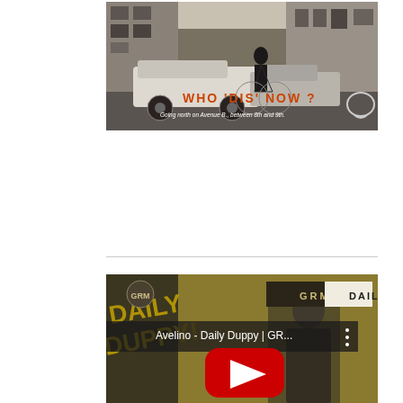[Figure (photo): Black and white street photograph of a person riding a bicycle going north on Avenue B, between 8th and 9th. A car is parked on the street. Text overlay reads 'WHO DIS NOW?' in red/orange and 'Going north on Avenue B., between 8th and 9th.' in white italic.]
[Figure (screenshot): YouTube video thumbnail for 'Avelino - Daily Duppy | GR...' from GRM Daily channel. Shows a person standing with GRM Daily branding and a YouTube play button overlay.]